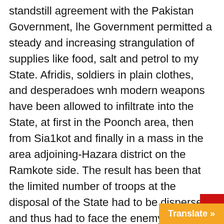standstill agreement with the Pakistan Government, lhe Government permitted a steady and increasing strangulation of supplies like food, salt and petrol to my State. Afridis, soldiers in plain clothes, and desperadoes wnh modern weapons have been allowed to infiltrate into the State, at first in the Poonch area, then from Sia1kot and finally in a mass in the area adjoining-Hazara district on the Ramkote side. The result has been that the limited number of troops at the disposal of the State had to be dispersed and thus had to face the enemy at several points simultaneously, so that it has become difficult to stop the wanton destruction of life ad property and the looting of the Mahura power house, which su electric current to the whole of Srina